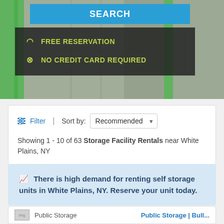[Figure (screenshot): Hero image showing self-storage units with green shelving and containers, with a dark overlay panel containing a SEARCH button and feature icons.]
FREE RESERVATION
NO CREDIT CARD REQUIRED
Filter | Sort by: Recommended
Showing 1 - 10 of 63 Storage Facility Rentals near White Plains, NY
There is high demand for renting self storage units in White Plains, NY. Reserve your unit today.
Public Storage | Public Storage | Bull...